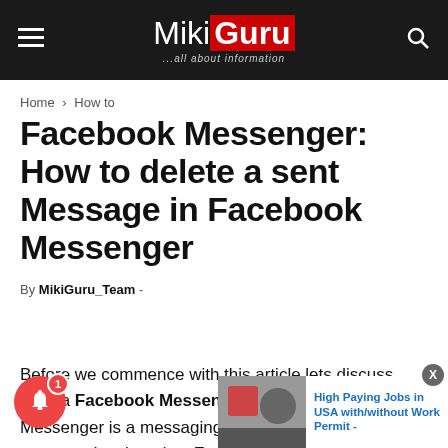[Figure (logo): MikiGuru website header with logo reading 'MikiGuru ...all about information' on dark background, with hamburger menu icon on left and search icon on right]
Home › How to
Facebook Messenger: How to delete a sent Message in Facebook Messenger
By MikiGuru_Team -
Before we commence with this article lets discuss what a Facebook Messenger is. Facebook Messenger is a messaging app and platform. This app was developed as Facebook Chat in 2008 but later the